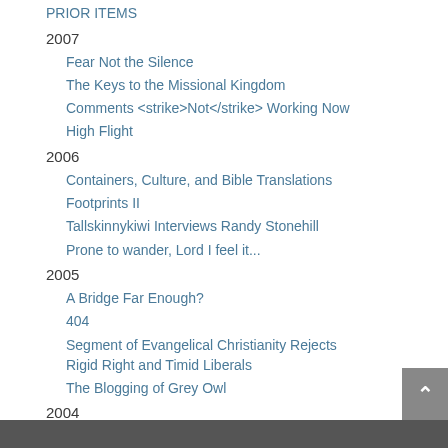PRIOR ITEMS
2007
Fear Not the Silence
The Keys to the Missional Kingdom
Comments <strike>Not</strike> Working Now
High Flight
2006
Containers, Culture, and Bible Translations
Footprints II
Tallskinnykiwi Interviews Randy Stonehill
Prone to wander, Lord I feel it...
2005
A Bridge Far Enough?
404
Segment of Evangelical Christianity Rejects Rigid Right and Timid Liberals
The Blogging of Grey Owl
2004
(none)